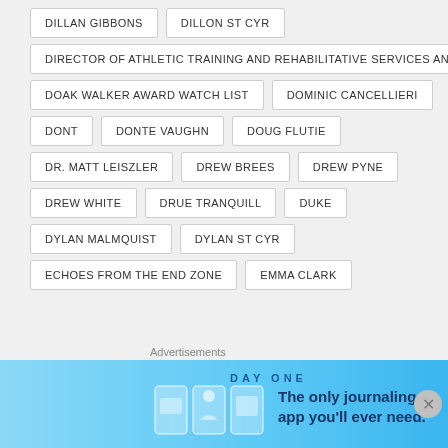DILLAN GIBBONS
DILLON ST CYR
DIRECTOR OF ATHLETIC TRAINING AND REHABILITATIVE SERVICES AND HEAD ATHLETIC TRAINER FOR FOOTBALL ROB HUNT
DOAK WALKER AWARD WATCH LIST
DOMINIC CANCELLIERI
DONT
DONTE VAUGHN
DOUG FLUTIE
DR. MATT LEISZLER
DREW BREES
DREW PYNE
DREW WHITE
DRUE TRANQUILL
DUKE
DYLAN MALMQUIST
DYLAN ST CYR
ECHOES FROM THE END ZONE
EMMA CLARK
Advertisements